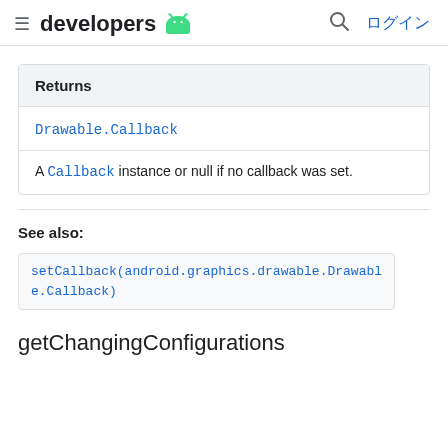≡ developers 🤖 🔍 ログイン
| Returns |
| --- |
| Drawable.Callback |
| A Callback instance or null if no callback was set. |
See also:
setCallback(android.graphics.drawable.Drawable.Callback)
getChangingConfigurations